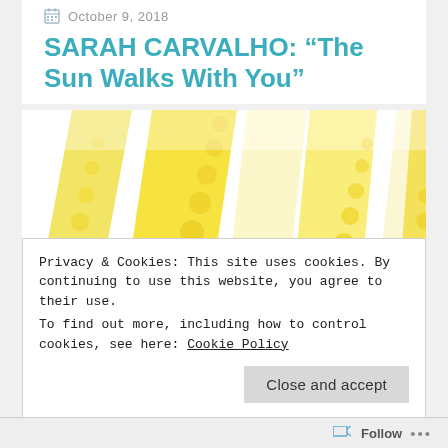October 9, 2018
SARAH CARVALHO: “The Sun Walks With You”
[Figure (illustration): Artwork showing diagonal bands of yellow circular swirl patterns on a white background, resembling sun rays with decorative spiral motifs]
Privacy & Cookies: This site uses cookies. By continuing to use this website, you agree to their use.
To find out more, including how to control cookies, see here: Cookie Policy
Close and accept
Follow ...